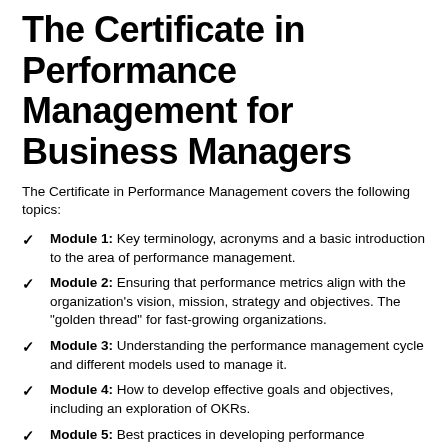The Certificate in Performance Management for Business Managers
The Certificate in Performance Management covers the following topics:
Module 1: Key terminology, acronyms and a basic introduction to the area of performance management.
Module 2: Ensuring that performance metrics align with the organization's vision, mission, strategy and objectives. The "golden thread" for fast-growing organizations.
Module 3: Understanding the performance management cycle and different models used to manage it.
Module 4: How to develop effective goals and objectives, including an exploration of OKRs.
Module 5: Best practices in developing performance...